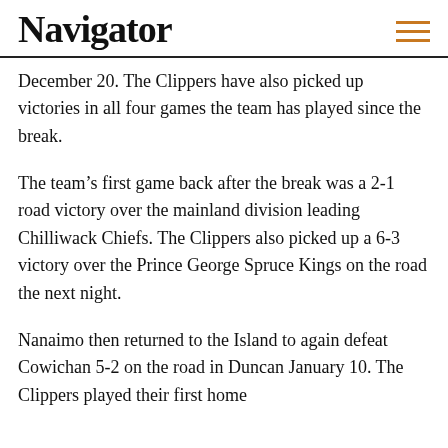Navigator
December 20. The Clippers have also picked up victories in all four games the team has played since the break.
The team's first game back after the break was a 2-1 road victory over the mainland division leading Chilliwack Chiefs. The Clippers also picked up a 6-3 victory over the Prince George Spruce Kings on the road the next night.
Nanaimo then returned to the Island to again defeat Cowichan 5-2 on the road in Duncan January 10. The Clippers played their first home